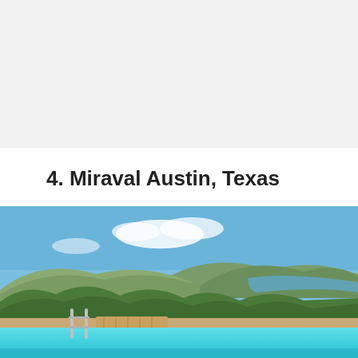[Figure (photo): Top portion of a previous page's photo, light gray/white background visible]
4. Miraval Austin, Texas
[Figure (photo): Infinity pool overlooking a scenic hill country lake and forested hills under a blue sky with light clouds, with metal pool ladder and wooden deck visible]